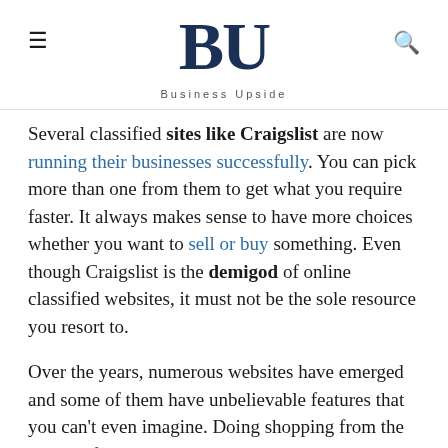BU — Business Upside
Several classified sites like Craigslist are now running their businesses successfully. You can pick more than one from them to get what you require faster. It always makes sense to have more choices whether you want to sell or buy something. Even though Craigslist is the demigod of online classified websites, it must not be the sole resource you resort to.
Over the years, numerous websites have emerged and some of them have unbelievable features that you can't even imagine. Doing shopping from the luxury of your home or making money online, everything can become possible with these craigslist alternatives.
Craigslist has closed his Personals section in May 2018. But there are a lot of alternatives to craigslist personal section. One of the alternatives is Doublelist...